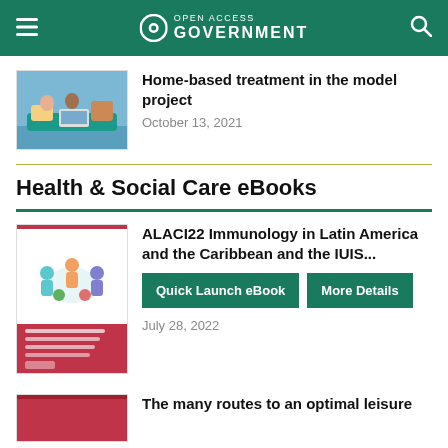Open Access Government
Home-based treatment in the model project
October 13, 2021
Health & Social Care eBooks
ALACI22 Immunology in Latin America and the Caribbean and the IUIS...
Quick Launch eBook   More Details
July 28, 2022
The many routes to an optimal leisure